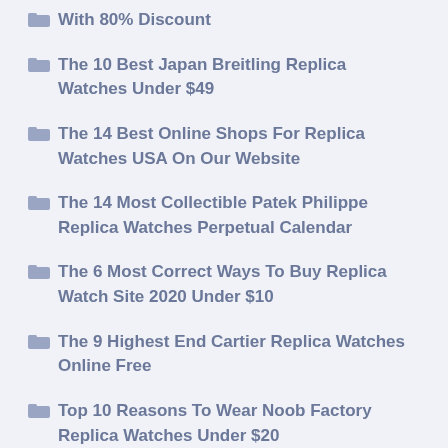With 80% Discount
The 10 Best Japan Breitling Replica Watches Under $49
The 14 Best Online Shops For Replica Watches USA On Our Website
The 14 Most Collectible Patek Philippe Replica Watches Perpetual Calendar
The 6 Most Correct Ways To Buy Replica Watch Site 2020 Under $10
The 9 Highest End Cartier Replica Watches Online Free
Top 10 Reasons To Wear Noob Factory Replica Watches Under $20
Top 7 Exact Swiss Replica Watches Up To 80% Off